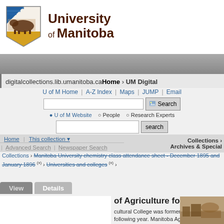[Figure (logo): University of Manitoba logo with bison and shield graphic in blue, brown, yellow colors]
University of Manitoba
digitalcollections.lib.umanitoba.ca Home › UM Digital
U of M Home | A-Z Index | Maps | JUMP | Email
U of M Website  People  Research Experts
Home  This collection  Collections › Archives & Special
Advanced Search  Newspaper Search
Collections › Manitoba University chemistry class attendance sheet - December 1895 and January 1896 (x) › Universities and colleges (x) ›
View  Details
of Agriculture fonds
cultural College was formerly opened following year. Manitoba Agricultural